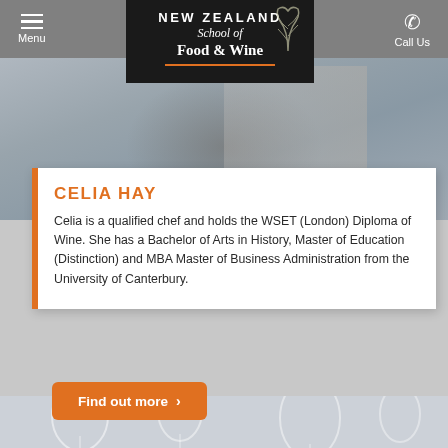Menu | New Zealand School of Food & Wine | Call Us
[Figure (photo): Person sitting at a desk with books/magazines, food and wine school setting]
CELIA HAY
Celia is a qualified chef and holds the WSET (London) Diploma of Wine. She has a Bachelor of Arts in History, Master of Education (Distinction) and MBA Master of Business Administration from the University of Canterbury.
Find out more >
[Figure (photo): Wine glasses on a table setting, close-up shot]